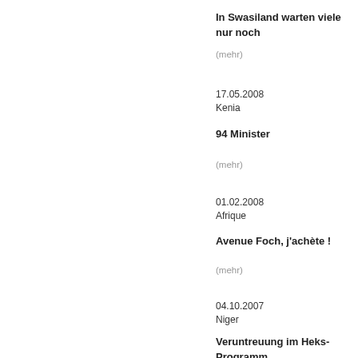In Swasiland warten viele nur noch
(mehr)
17.05.2008
Kenia
94 Minister
(mehr)
01.02.2008
Afrique
Avenue Foch, j'achète !
(mehr)
04.10.2007
Niger
Veruntreuung im Heks-Programm
(mehr)